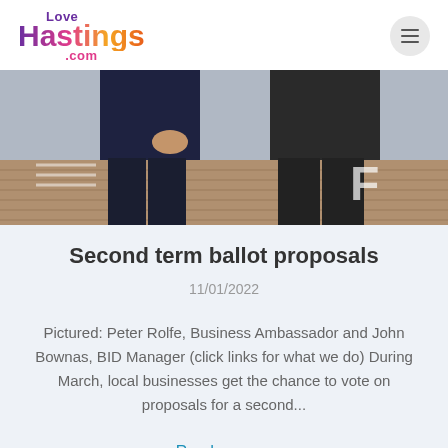Love Hastings .com
[Figure (photo): Two people standing on a brick-paved street, cropped to show their lower bodies and torsos, with road markings visible in the background.]
Second term ballot proposals
11/01/2022
Pictured: Peter Rolfe, Business Ambassador and John Bownas, BID Manager (click links for what we do) During March, local businesses get the chance to vote on proposals for a second...
Read more »